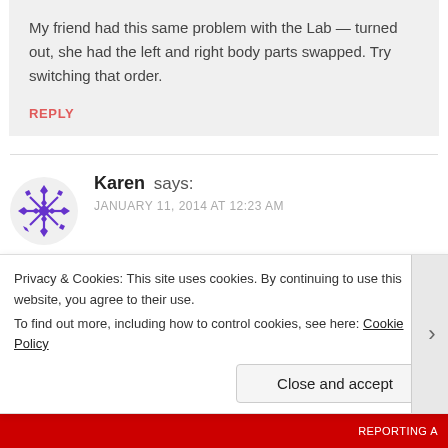My friend had this same problem with the Lab — turned out, she had the left and right body parts swapped. Try switching that order.
REPLY
Karen says: JANUARY 11, 2014 AT 12:23 AM
Thanks so much for making this video (almost 2 years ago!). I would have never, ever, NEVER
Privacy & Cookies: This site uses cookies. By continuing to use this website, you agree to their use. To find out more, including how to control cookies, see here: Cookie Policy
Close and accept